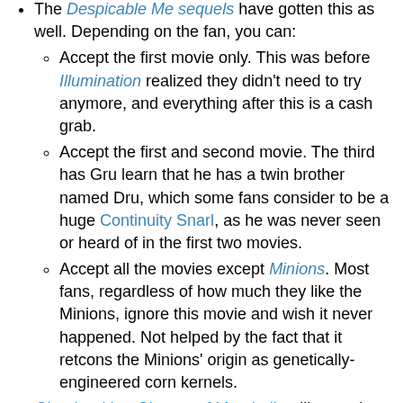The Despicable Me sequels have gotten this as well. Depending on the fan, you can:
Accept the first movie only. This was before Illumination realized they didn't need to try anymore, and everything after this is a cash grab.
Accept the first and second movie. The third has Gru learn that he has a twin brother named Dru, which some fans consider to be a huge Continuity Snarl, as he was never seen or heard of in the first two movies.
Accept all the movies except Minions. Most fans, regardless of how much they like the Minions, ignore this movie and wish it never happened. Not helped by the fact that it retcons the Minions' origin as genetically-engineered corn kernels.
Cloudy with a Chance of Meatballs will sometimes get this depending on the fan who will either:
Acknowledge only the first movie. The second film has